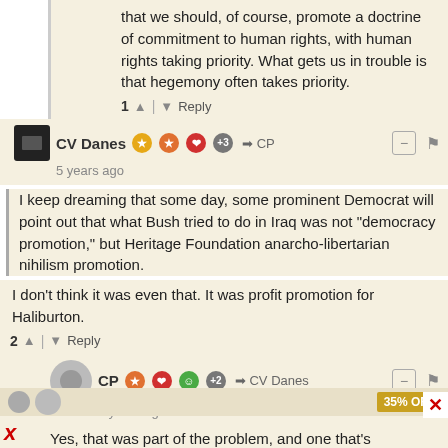that we should, of course, promote a doctrine of commitment to human rights, with human rights taking priority. What gets us in trouble is that hegemony often takes priority.
1 ↑ | ↓ Reply
CV Danes • 5 years ago
I keep dreaming that some day, some prominent Democrat will point out that what Bush tried to do in Iraq was not "democracy promotion," but Heritage Foundation anarcho-libertarian nihilism promotion.
I don't think it was even that. It was profit promotion for Haliburton.
2 ↑ | ↓ Reply
CP • 5 years ago
Yes, that was part of the problem, and one that's gotten